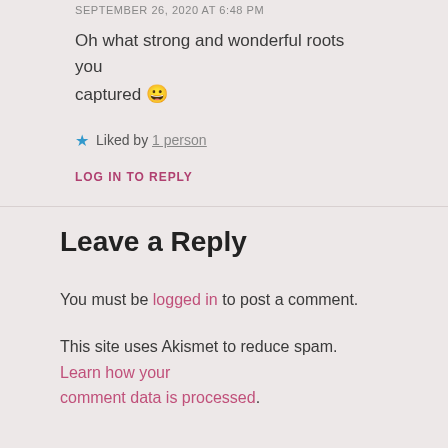SEPTEMBER 26, 2020 AT 6:48 PM
Oh what strong and wonderful roots you captured 😀
★ Liked by 1 person
LOG IN TO REPLY
Leave a Reply
You must be logged in to post a comment.
This site uses Akismet to reduce spam. Learn how your comment data is processed.